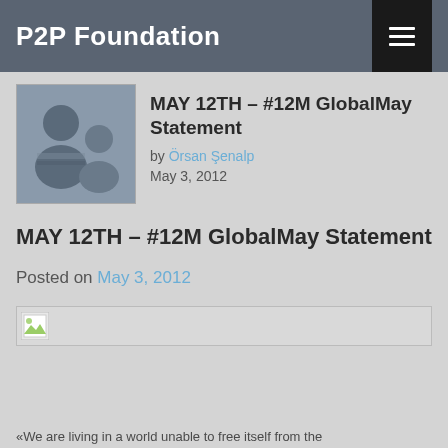P2P Foundation
MAY 12TH – #12M GlobalMay Statement
by Örsan Şenalp
May 3, 2012
MAY 12TH – #12M GlobalMay Statement
Posted on May 3, 2012
[Figure (other): Broken image placeholder with small green/white icon]
«We are living in a world unable to free itself from the